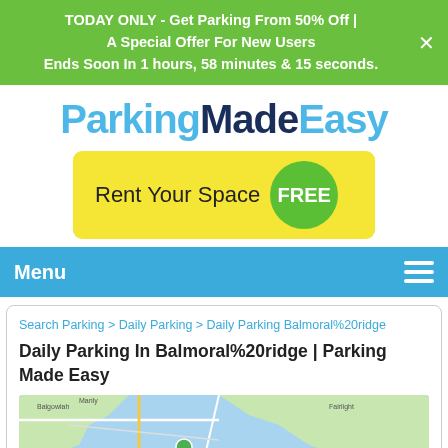TODAY ONLY - Get Parking From 50% Off | A Special Offer For New Users Ends Soon In 1 hours, 58 minutes & 15 seconds.
[Figure (logo): ParkingMadeEasy logo in blue and dark navy text]
[Figure (other): Rent Your Space FREE button - yellow rounded rectangle with green circle badge]
Menu
Search Parking > Daily Parking > Daily Parking Balmoral%20ridge
Daily Parking In Balmoral%20ridge | Parking Made Easy
[Figure (map): Google Maps screenshot showing Balmoral Ridge area coastal map]